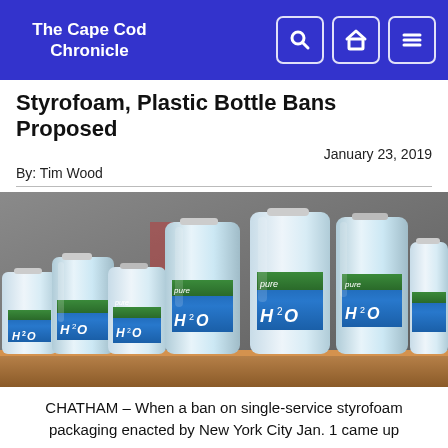The Cape Cod Chronicle
Styrofoam, Plastic Bottle Bans Proposed
January 23, 2019
By: Tim Wood
[Figure (photo): Photograph of multiple plastic water bottles with blue H2O labels arranged on a store shelf]
CHATHAM – When a ban on single-service styrofoam packaging enacted by New York City Jan. 1 came up